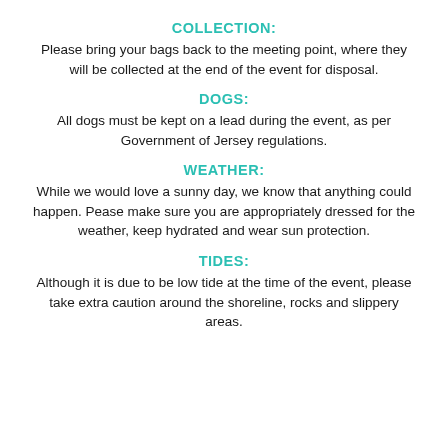COLLECTION:
Please bring your bags back to the meeting point, where they will be collected at the end of the event for disposal.
DOGS:
All dogs must be kept on a lead during the event, as per Government of Jersey regulations.
WEATHER:
While we would love a sunny day, we know that anything could happen. Pease make sure you are appropriately dressed for the weather, keep hydrated and wear sun protection.
TIDES:
Although it is due to be low tide at the time of the event, please take extra caution around the shoreline, rocks and slippery areas.